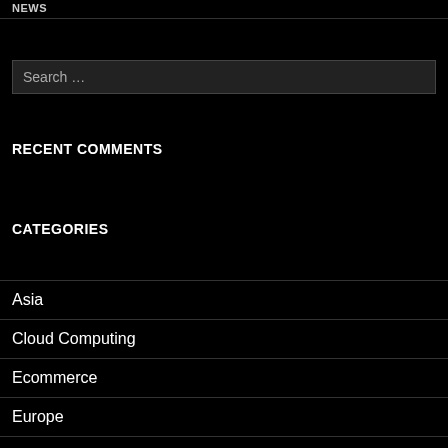NEWS
Search …
RECENT COMMENTS
CATEGORIES
Asia
Cloud Computing
Ecommerce
Europe
Finance